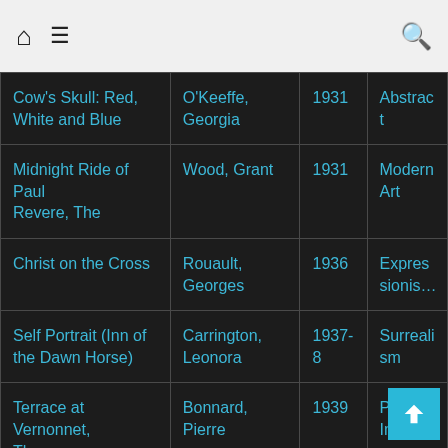Home | Menu | Search
| Title | Artist | Year | Style |
| --- | --- | --- | --- |
| Cow's Skull: Red, White and Blue | O'Keeffe, Georgia | 1931 | Abstract |
| Midnight Ride of Paul Revere, The | Wood, Grant | 1931 | Modern Art |
| Christ on the Cross | Rouault, Georges | 1936 | Expressionism |
| Self Portrait (Inn of the Dawn Horse) | Carrington, Leonora | 1937-8 | Surrealism |
| Terrace at Vernonnet, The | Bonnard, Pierre | 1939 | Post-Impressionism |
| Pasiphaë | Pollock, Jackson | 1943 | Abstract |
| Seated Woman | de Kooning, Willem | 1944 | Abstract Expressionism |